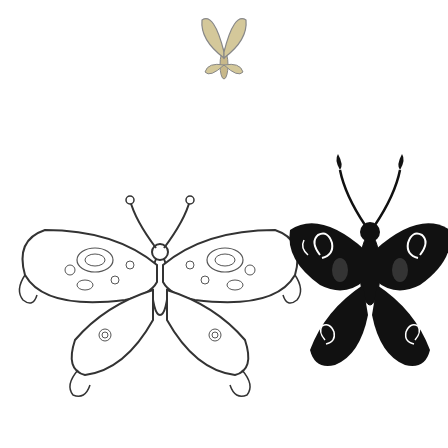[Figure (illustration): Three butterfly tattoo designs: top center is a small outlined butterfly with filled wings; bottom left is a large detailed outlined butterfly with decorative circular and oval patterns; bottom right is a large bold black filled butterfly with swirl and spiral patterns.]
Butterfly Tattoo Idea Tribal Butterfly Tattoo Butterfly Tattoo Designs Butterfly Tattoo
[Figure (illustration): Two stylized butterfly tattoo designs in black: left is a minimalist brush-stroke butterfly in profile; right is a flame-like butterfly design with flowing curves.]